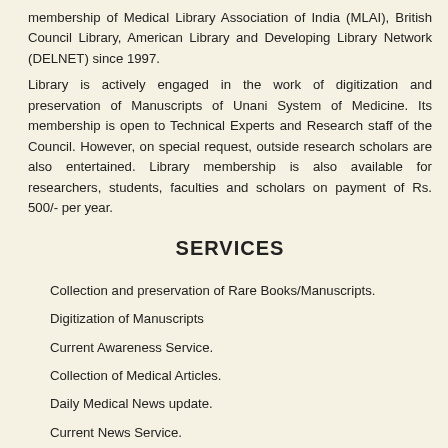membership of Medical Library Association of India (MLAI), British Council Library, American Library and Developing Library Network (DELNET) since 1997.
Library is actively engaged in the work of digitization and preservation of Manuscripts of Unani System of Medicine. Its membership is open to Technical Experts and Research staff of the Council. However, on special request, outside research scholars are also entertained. Library membership is also available for researchers, students, faculties and scholars on payment of Rs. 500/- per year.
SERVICES
Collection and preservation of Rare Books/Manuscripts.
Digitization of Manuscripts
Current Awareness Service.
Collection of Medical Articles.
Daily Medical News update.
Current News Service.